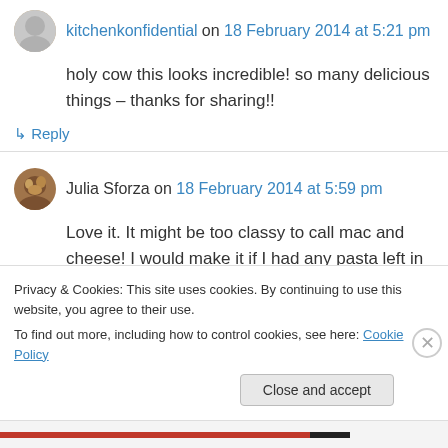kitchenkonfidential on 18 February 2014 at 5:21 pm
holy cow this looks incredible! so many delicious things – thanks for sharing!!
↳ Reply
Julia Sforza on 18 February 2014 at 5:59 pm
Love it. It might be too classy to call mac and cheese! I would make it if I had any pasta left in the pantry. I am hoping I can get to the store
Privacy & Cookies: This site uses cookies. By continuing to use this website, you agree to their use.
To find out more, including how to control cookies, see here: Cookie Policy
Close and accept